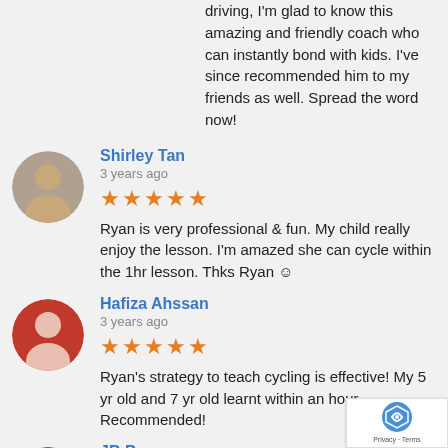driving, I'm glad to know this amazing and friendly coach who can instantly bond with kids. I've since recommended him to my friends as well. Spread the word now!
Shirley Tan
3 years ago
★★★★★ Ryan is very professional & fun. My child really enjoy the lesson. I'm amazed she can cycle within the 1hr lesson. Thks Ryan ☺
Hafiza Ahssan
3 years ago
★★★★★ Ryan's strategy to teach cycling is effective! My 5 yr old and 7 yr old learnt within an hour. Recommended!
JB P
3 years ago
★★★★★ Ryan, you are really good! I am thankful for your guidance. My girl is a timid girl and she knows how to ride the bicycle! I forwarded your contact to all my friends. 👏👏👏👏